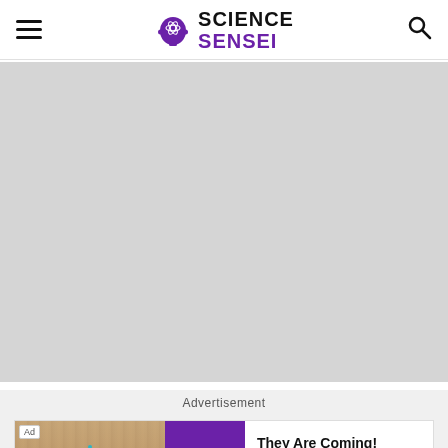Science Sensei — navigation header with hamburger menu, logo, and search icon
[Figure (photo): Large light gray placeholder image area occupying the main content region below the header]
Advertisement
[Figure (screenshot): Ad banner: Ad badge, left section showing a toy game screenshot with wood floor background, center purple block with 'rollic' logo, right section with text 'They Are Coming!' and 'Download' link in blue]